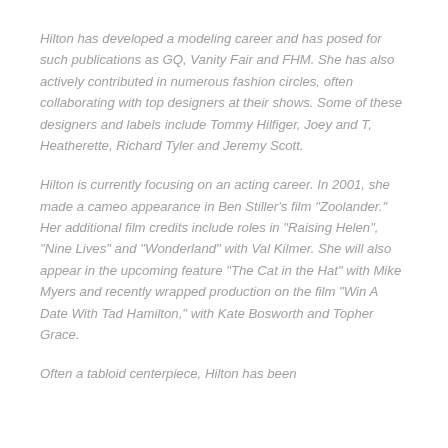Hilton has developed a modeling career and has posed for such publications as GQ, Vanity Fair and FHM. She has also actively contributed in numerous fashion circles, often collaborating with top designers at their shows. Some of these designers and labels include Tommy Hilfiger, Joey and T, Heatherette, Richard Tyler and Jeremy Scott.
Hilton is currently focusing on an acting career. In 2001, she made a cameo appearance in Ben Stiller's film "Zoolander." Her additional film credits include roles in "Raising Helen", "Nine Lives" and "Wonderland" with Val Kilmer. She will also appear in the upcoming feature "The Cat in the Hat" with Mike Myers and recently wrapped production on the film "Win A Date With Tad Hamilton," with Kate Bosworth and Topher Grace.
Often a tabloid centerpiece, Hilton has been